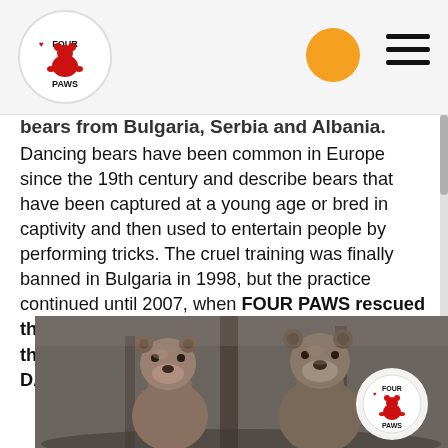FOUR PAWS logo with orange dot and hamburger menu
bears from Bulgaria, Serbia and Albania. Dancing bears have been common in Europe since the 19th century and describe bears that have been captured at a young age or bred in captivity and then used to entertain people by performing tricks. The cruel training was finally banned in Bulgaria in 1998, but the practice continued until 2007, when FOUR PAWS rescued the last 'dancing bears' and brought them to their forever, species-appropriate home at DANCING BEARS PARK Belitsa.
[Figure (photo): Two brown bears looking up, photographed in a forested park setting, with a Four Paws logo watermark in the bottom right corner of the image.]